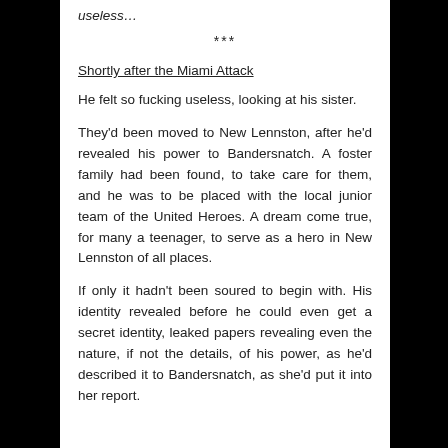useless…
***
Shortly after the Miami Attack
He felt so fucking useless, looking at his sister.
They'd been moved to New Lennston, after he'd revealed his power to Bandersnatch. A foster family had been found, to take care for them, and he was to be placed with the local junior team of the United Heroes. A dream come true, for many a teenager, to serve as a hero in New Lennston of all places.
If only it hadn't been soured to begin with. His identity revealed before he could even get a secret identity, leaked papers revealing even the nature, if not the details, of his power, as he'd described it to Bandersnatch, as she'd put it into her report.